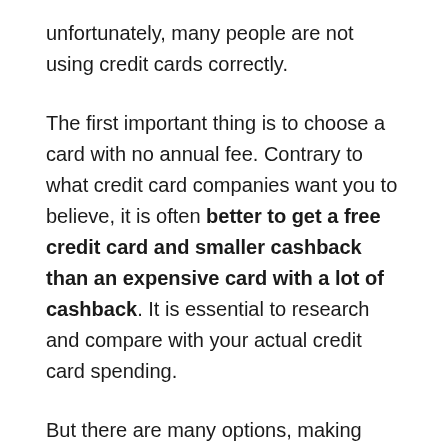unfortunately, many people are not using credit cards correctly.
The first important thing is to choose a card with no annual fee. Contrary to what credit card companies want you to believe, it is often better to get a free credit card and smaller cashback than an expensive card with a lot of cashback. It is essential to research and compare with your actual credit card spending.
But there are many options, making finding the best credit card in Switzerland challenging. So, this article explores the different credit card options